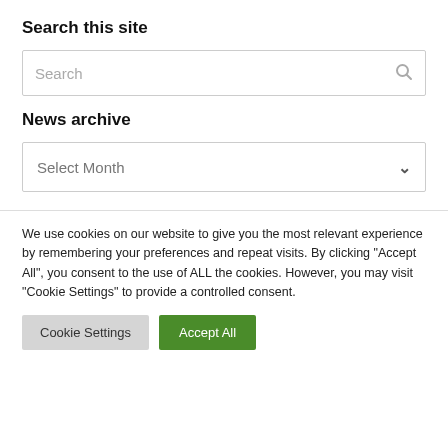Search this site
[Figure (screenshot): Search input box with placeholder text 'Search' and a magnifying glass icon on the right]
News archive
[Figure (screenshot): Dropdown selector with placeholder text 'Select Month' and a chevron/down arrow on the right]
We use cookies on our website to give you the most relevant experience by remembering your preferences and repeat visits. By clicking "Accept All", you consent to the use of ALL the cookies. However, you may visit "Cookie Settings" to provide a controlled consent.
Cookie Settings | Accept All